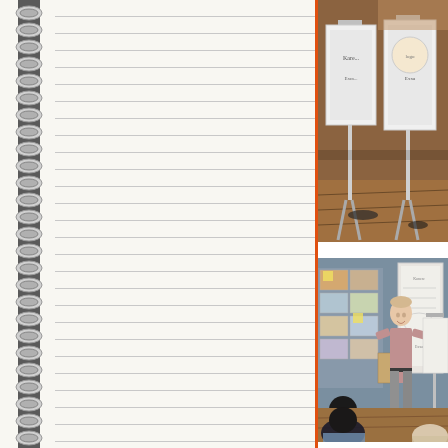[Figure (photo): Classroom scene showing display stands and materials on a wooden floor, partial view from above]
[Figure (photo): A young man presenting in a classroom with posters on the wall, standing next to a display board, with students sitting on the floor in front of him]